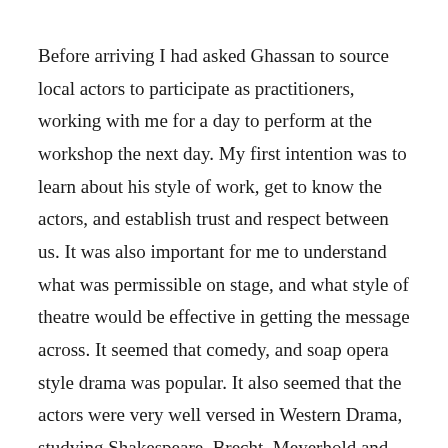Before arriving I had asked Ghassan to source local actors to participate as practitioners, working with me for a day to perform at the workshop the next day. My first intention was to learn about his style of work, get to know the actors, and establish trust and respect between us. It was also important for me to understand what was permissible on stage, and what style of theatre would be effective in getting the message across. It seemed that comedy, and soap opera style drama was popular. It also seemed that the actors were very well versed in Western Drama, studying Shakespeare, Brecht, Meyerhold and Stanislavksy.